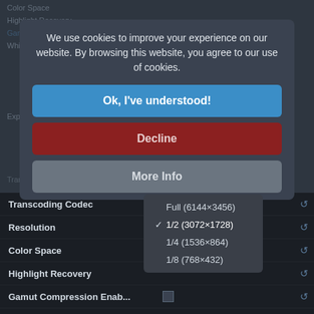We use cookies to improve your experience on our website. By browsing this website, you agree to our use of cookies.
Ok, I've understood!
Decline
More Info
| Setting | Value |
| --- | --- |
| Transcoding Codec |  |
| Resolution |  |
| Color Space |  |
| Highlight Recovery |  |
| Gamut Compression Enab... |  |
| White Balance Kelvin | 4350 |
| White Balance Tint | 10 |
| ISO | 3200 |
| Exposure | 0 |
[Figure (screenshot): Dropdown menu showing resolution options: Full (6144×3456), 1/2 (3072×1728) [checked], 1/4 (1536×864), 1/8 (768×432)]